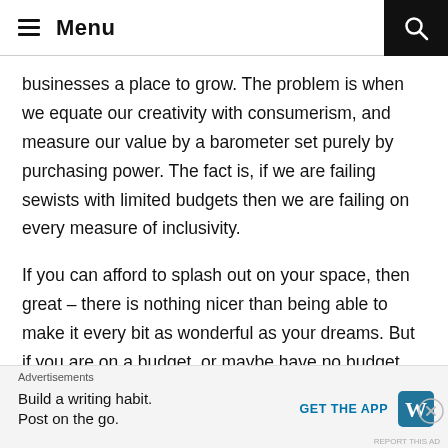Menu
businesses a place to grow. The problem is when we equate our creativity with consumerism, and measure our value by a barometer set purely by purchasing power. The fact is, if we are failing sewists with limited budgets then we are failing on every measure of inclusivity.
If you can afford to splash out on your space, then great – there is nothing nicer than being able to make it every bit as wonderful as your dreams. But if you are on a budget, or maybe have no budget, then please don't despair. My hope is that the entry point to this activity will slide down a notch. You don't need to part with your hard earned at a rate of knots to
Advertisements
Build a writing habit.
Post on the go.
GET THE APP